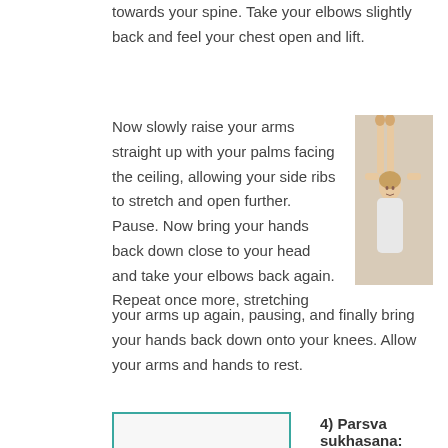towards your spine. Take your elbows slightly back and feel your chest open and lift.
Now slowly raise your arms straight up with your palms facing the ceiling, allowing your side ribs to stretch and open further. Pause. Now bring your hands back down close to your head and take your elbows back again. Repeat once more, stretching your arms up again, pausing, and finally bring your hands back down onto your knees. Allow your arms and hands to rest.
[Figure (photo): Person in yoga pose with arms raised straight up overhead, palms facing ceiling, wearing a white top, viewed from the side against a light background.]
[Figure (other): Teal-bordered box at bottom left, likely containing an image for the next yoga pose]
4) Parsva sukhasana: